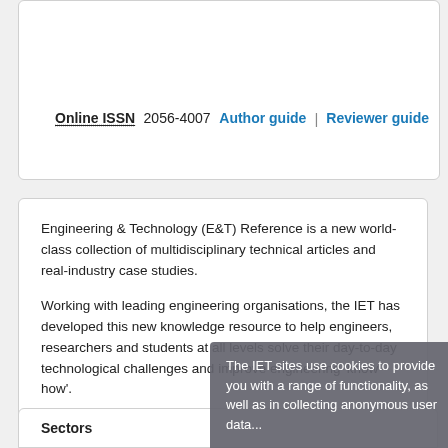Online ISSN 2056-4007
Author guide | Reviewer guide
Engineering & Technology (E&T) Reference is a new world-class collection of multidisciplinary technical articles and real-industry case studies.

Working with leading engineering organisations, the IET has developed this new knowledge resource to help engineers, researchers and students at all levels solve their day-to-day technological challenges and improve engineering 'know-how'.
Read more
Request organisation

Start bene... reference...

Bespoke e... engagement...

Request a...

Further e...
The IET sites use cookies to provide you with a range of functionality, as well as in collecting anonymous user data...
Sectors